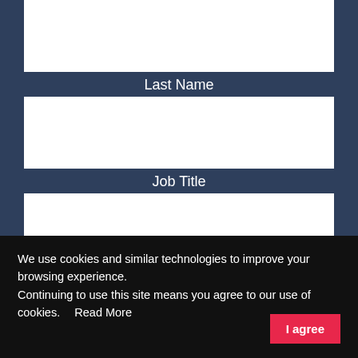[Figure (screenshot): Web form with dark blue background showing form fields: a partially visible top input, then Last Name label with input box, Job Title label with input box, Company label with partially visible input box]
Last Name
Job Title
Company
We use cookies and similar technologies to improve your browsing experience.
Continuing to use this site means you agree to our use of cookies.   Read More
I agree